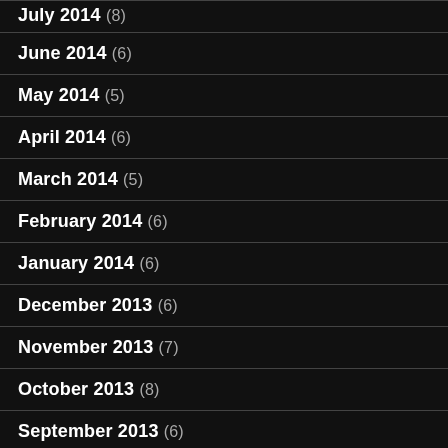July 2014 (8)
June 2014 (6)
May 2014 (5)
April 2014 (6)
March 2014 (5)
February 2014 (6)
January 2014 (6)
December 2013 (6)
November 2013 (7)
October 2013 (8)
September 2013 (6)
August 2013 (7)
July 2013 (7)